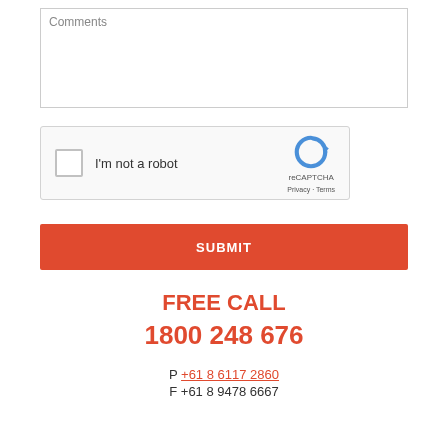[Figure (screenshot): Comments text area input box with placeholder text 'Comments']
[Figure (screenshot): reCAPTCHA widget with checkbox labeled 'I'm not a robot', reCAPTCHA logo, Privacy and Terms links]
[Figure (screenshot): Red SUBMIT button]
FREE CALL
1800 248 676
P +61 8 6117 2860
F +61 8 9478 6667